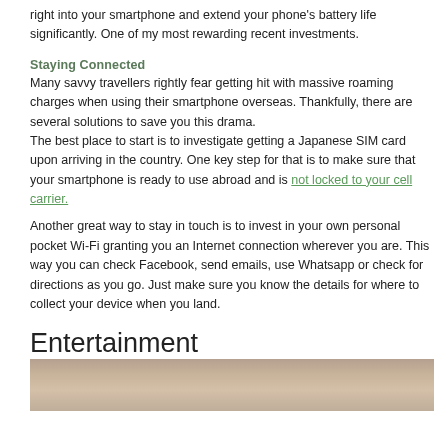right into your smartphone and extend your phone's battery life significantly. One of my most rewarding recent investments.
Staying Connected
Many savvy travellers rightly fear getting hit with massive roaming charges when using their smartphone overseas. Thankfully, there are several solutions to save you this drama.
The best place to start is to investigate getting a Japanese SIM card upon arriving in the country. One key step for that is to make sure that your smartphone is ready to use abroad and is not locked to your cell carrier.
Another great way to stay in touch is to invest in your own personal pocket Wi-Fi granting you an Internet connection wherever you are. This way you can check Facebook, send emails, use Whatsapp or check for directions as you go. Just make sure you know the details for where to collect your device when you land.
Entertainment
[Figure (photo): Photo of what appears to be a wristwatch or camera on a surface]